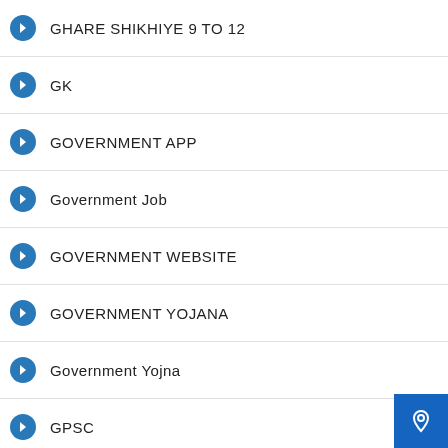GHARE SHIKHIYE 9 TO 12
GK
GOVERNMENT APP
Government Job
GOVERNMENT WEBSITE
GOVERNMENT YOJANA
Government Yojna
GPSC
GPSC UPDATE
GRAM PANCHAYAT TALATI
GRAMIN DAKSEVAK
GSRTC
GSSSB
Gujarat Lockdown 4.0